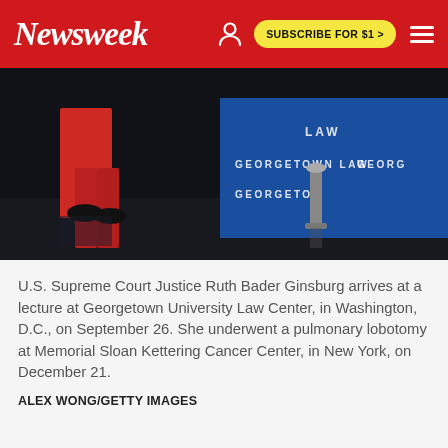Newsweek | SUBSCRIBE FOR $1 >
[Figure (photo): U.S. Supreme Court Justice Ruth Bader Ginsburg at a Georgetown University Law Center event. A person in red pants and black shoes is visible on a dark stage. Blue Georgetown Law banners are visible in the background.]
U.S. Supreme Court Justice Ruth Bader Ginsburg arrives at a lecture at Georgetown University Law Center, in Washington, D.C., on September 26. She underwent a pulmonary lobotomy at Memorial Sloan Kettering Cancer Center, in New York, on December 21.
ALEX WONG/GETTY IMAGES